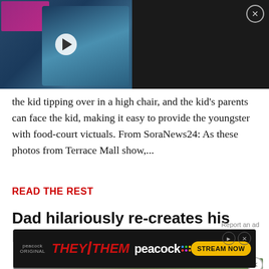[Figure (screenshot): Video thumbnail showing Morus Zero portable clothes dryer on dark background with play button, alongside video title text on black panel]
the kid tipping over in a high chair, and the kid's parents can face the kid, making it easy to provide the youngster with food-court victuals. From SoraNews24: As these photos from Terrace Mall show,...
READ THE REST
Dad hilariously re-creates his kid's drawings with Photoshop
[Figure (photo): Partial image strip at bottom of article preview]
[Figure (screenshot): Peacock ORIGINAL advertisement banner for THEY/THEM with STREAM NOW button]